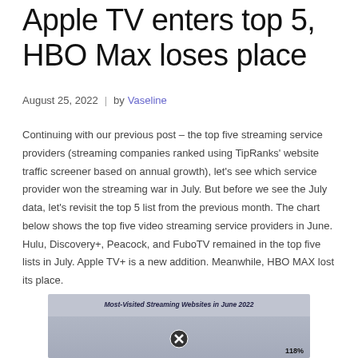Apple TV enters top 5, HBO Max loses place
August 25, 2022  |  by Vaseline
Continuing with our previous post – the top five streaming service providers (streaming companies ranked using TipRanks' website traffic screener based on annual growth), let's see which service provider won the streaming war in July. But before we see the July data, let's revisit the top 5 list from the previous month. The chart below shows the top five video streaming service providers in June. Hulu, Discovery+, Peacock, and FuboTV remained in the top five lists in July. Apple TV+ is a new addition. Meanwhile, HBO MAX lost its place.
[Figure (other): Partial view of a bar chart titled 'Most-Visited Streaming Websites in June 2022' showing streaming service rankings with a percentage label of 118% visible at the bottom right.]